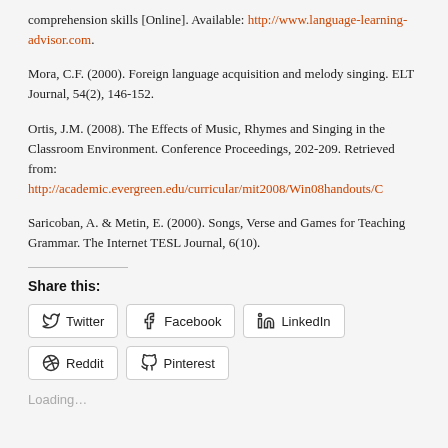comprehension skills [Online]. Available: http://www.language-learning-advisor.com.
Mora, C.F. (2000). Foreign language acquisition and melody singing. ELT Journal, 54(2), 146-152.
Ortis, J.M. (2008). The Effects of Music, Rhymes and Singing in the Classroom Environment. Conference Proceedings, 202-209. Retrieved from: http://academic.evergreen.edu/curricular/mit2008/Win08handouts/C
Saricoban, A. & Metin, E. (2000). Songs, Verse and Games for Teaching Grammar. The Internet TESL Journal, 6(10).
Share this:
Twitter Facebook LinkedIn Reddit Pinterest
Loading...